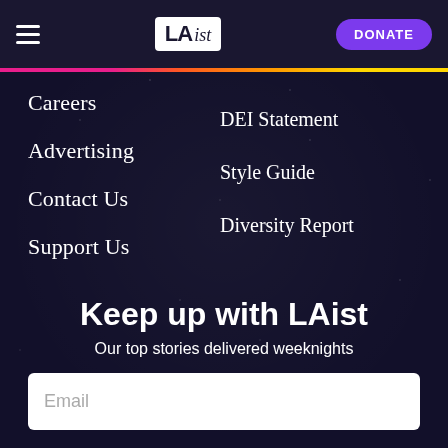LAist — DONATE
Careers
Advertising
Contact Us
Support Us
DEI Statement
Style Guide
Diversity Report
Keep up with LAist
Our top stories delivered weeknights
Email